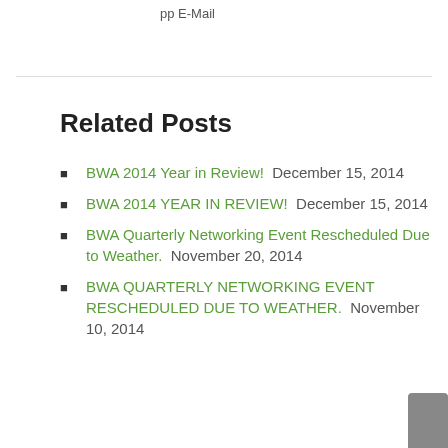pp E-Mail
Related Posts
BWA 2014 Year in Review!  December 15, 2014
BWA 2014 YEAR IN REVIEW!  December 15, 2014
BWA Quarterly Networking Event Rescheduled Due to Weather.  November 20, 2014
BWA QUARTERLY NETWORKING EVENT RESCHEDULED DUE TO WEATHER.  November 10, 2014